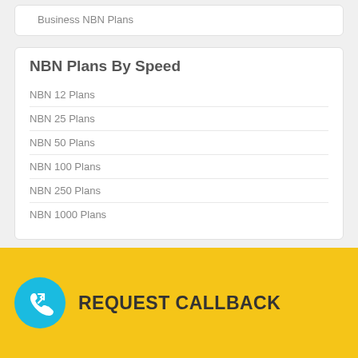Business NBN Plans
NBN Plans By Speed
NBN 12 Plans
NBN 25 Plans
NBN 50 Plans
NBN 100 Plans
NBN 250 Plans
NBN 1000 Plans
Guides
NBN Rollout Map
NBN Coverage Checker
What's the difference between NBN and Cable?
Cheapest broadband in Australia
[Figure (infographic): Yellow REQUEST CALLBACK banner with teal phone icon circle and bold dark text]